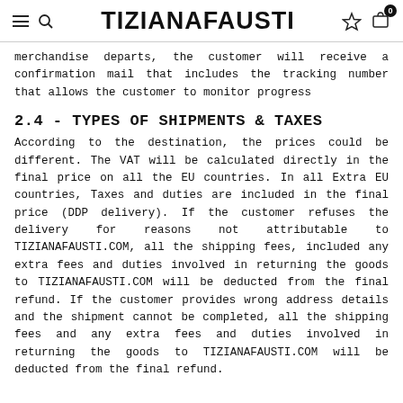TIZIANAFAUSTI
merchandise departs, the customer will receive a confirmation mail that includes the tracking number that allows the customer to monitor progress
2.4 - TYPES OF SHIPMENTS & TAXES
According to the destination, the prices could be different. The VAT will be calculated directly in the final price on all the EU countries. In all Extra EU countries, Taxes and duties are included in the final price (DDP delivery). If the customer refuses the delivery for reasons not attributable to TIZIANAFAUSTI.COM, all the shipping fees, included any extra fees and duties involved in returning the goods to TIZIANAFAUSTI.COM will be deducted from the final refund. If the customer provides wrong address details and the shipment cannot be completed, all the shipping fees and any extra fees and duties involved in returning the goods to TIZIANAFAUSTI.COM will be deducted from the final refund.